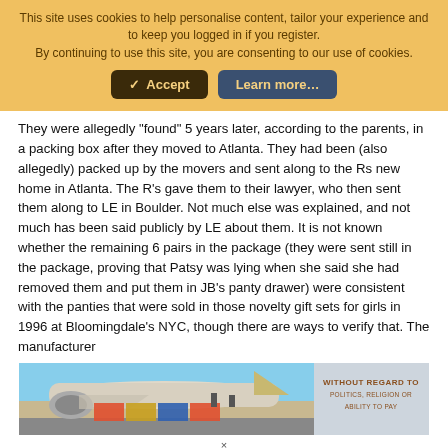This site uses cookies to help personalise content, tailor your experience and to keep you logged in if you register.
By continuing to use this site, you are consenting to our use of cookies.
[Figure (screenshot): Cookie consent banner with Accept and Learn more buttons on an orange/yellow background]
They were allegedly "found" 5 years later, according to the parents, in a packing box after they moved to Atlanta. They had been (also allegedly) packed up by the movers and sent along to the Rs new home in Atlanta. The R's gave them to their lawyer, who then sent them along to LE in Boulder. Not much else was explained, and not much has been said publicly by LE about them. It is not known whether the remaining 6 pairs in the package (they were sent still in the package, proving that Patsy was lying when she said she had removed them and put them in JB's panty drawer) were consistent with the panties that were sold in those novelty gift sets for girls in 1996 at Bloomingdale's NYC, though there are ways to verify that. The manufacturer
[Figure (photo): Advertisement showing an aircraft being loaded with cargo. Text overlay reads WITHOUT REGARD TO POLITICS, RELIGION OR ABILITY TO PAY]